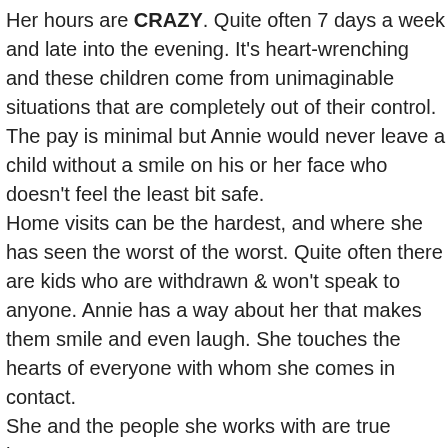Her hours are CRAZY. Quite often 7 days a week and late into the evening. It's heart-wrenching and these children come from unimaginable situations that are completely out of their control.  The pay is minimal but Annie would never leave a child without a smile on his or her face who doesn't feel the least bit safe. Home visits can be the hardest, and where she has seen the worst of the worst. Quite often there are kids who are withdrawn & won't speak to anyone. Annie has a way about her that makes them smile and even laugh. She touches the hearts of everyone with whom she comes in contact. She and the people she works with are true heroes.